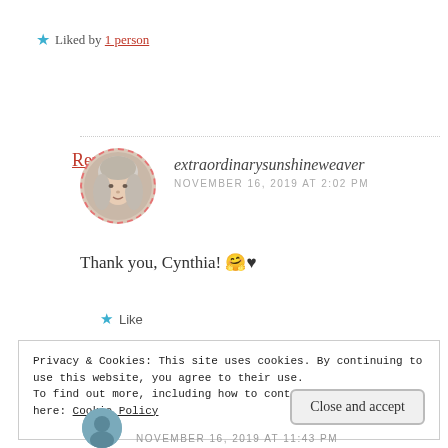★ Liked by 1 person
Reply
extraordinarysunshineweaver
NOVEMBER 16, 2019 AT 2:02 PM
[Figure (photo): Round avatar photo of a woman with light hair, bordered by a dashed red circle]
Thank you, Cynthia! 🤗♥
★ Like
Privacy & Cookies: This site uses cookies. By continuing to use this website, you agree to their use.
To find out more, including how to control cookies, see here: Cookie Policy
Close and accept
NOVEMBER 16, 2019 AT 11:43 PM